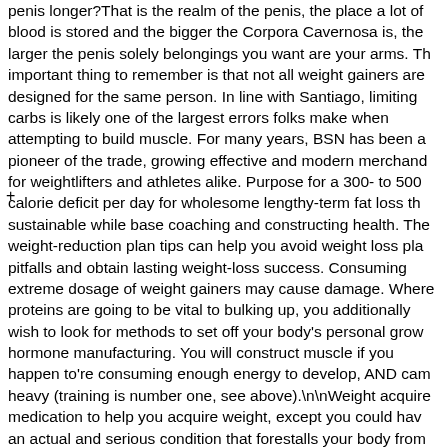penis longer?That is the realm of the penis, the place a lot of blood is stored and the bigger the Corpora Cavernosa is, the larger the penis solely belongings you want are your arms. Th important thing to remember is that not all weight gainers are designed for the same person. In line with Santiago, limiting carbs is likely one of the largest errors folks make when attempting to build muscle. For many years, BSN has been a pioneer of the trade, growing effective and modern merchand for weightlifters and athletes alike. Purpose for a 300- to 500 calorie deficit per day for wholesome lengthy-term fat loss th sustainable while base coaching and constructing health. The weight-reduction plan tips can help you avoid weight loss pla pitfalls and obtain lasting weight-loss success. Consuming extreme dosage of weight gainers may cause damage. Where proteins are going to be vital to bulking up, you additionally wish to look for methods to set off your body's personal grow hormone manufacturing. You will construct muscle if you happen to're consuming enough energy to develop, AND cam heavy (training is number one, see above).\n\nWeight acquire medication to help you acquire weight, except you could hav an actual and serious condition that forestalls your body from with the ability to grow, are simply not vital. To answer that question, we first want to look at the distinction between thos fat burners and weight loss supplements. You need this Hardgainer exercise so as to gain muscle mass and build you